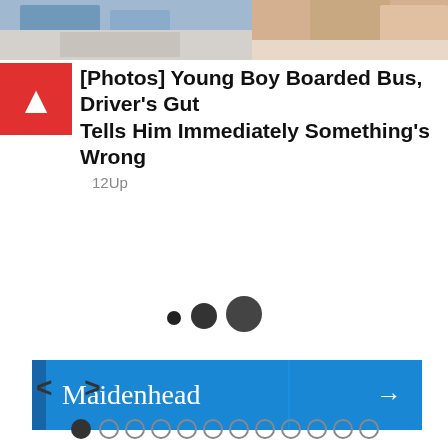[Figure (photo): Two cropped photos of people side by side at top of page]
[Photos] Young Boy Boarded Bus, Driver's Gut Tells Him Immediately Something's Wrong
12Up
[Figure (other): Three dots loading indicator: small black dot, medium dark gray dot, large dark gray dot]
[Figure (other): Maidenhead navigation banner with blue background and arrow]
< >
[Figure (other): Pagination indicator: one filled dot followed by eleven empty circles]